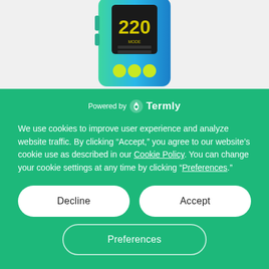[Figure (photo): A vaping device/mod with a green-to-blue gradient finish, showing '220' on a dark display screen with yellow text, and three yellow circular buttons at the bottom. The device is partially shown from the top portion.]
Powered by Termly
We use cookies to improve user experience and analyze website traffic. By clicking “Accept,” you agree to our website’s cookie use as described in our Cookie Policy. You can change your cookie settings at any time by clicking “Preferences.”